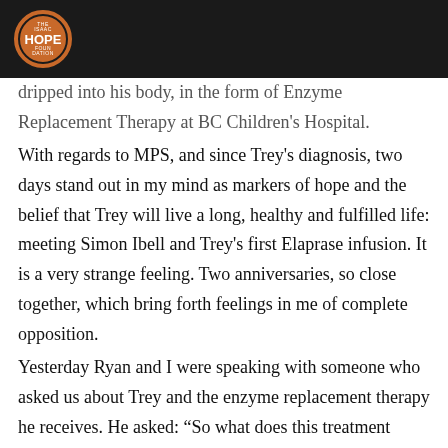HOPE (logo)
dripped into his body, in the form of Enzyme Replacement Therapy at BC Children's Hospital. With regards to MPS, and since Trey's diagnosis, two days stand out in my mind as markers of hope and the belief that Trey will live a long, healthy and fulfilled life: meeting Simon Ibell and Trey's first Elaprase infusion. It is a very strange feeling. Two anniversaries, so close together, which bring forth feelings in me of complete opposition. Yesterday Ryan and I were speaking with someone who asked us about Trey and the enzyme replacement therapy he receives. He asked: “So what does this treatment mean for Trey?” I don’t think he was aware of how loaded this question is. Depending on the day and moment, this question is quite likely to bring forth tears. Tears of fear, tears of uncertainty,